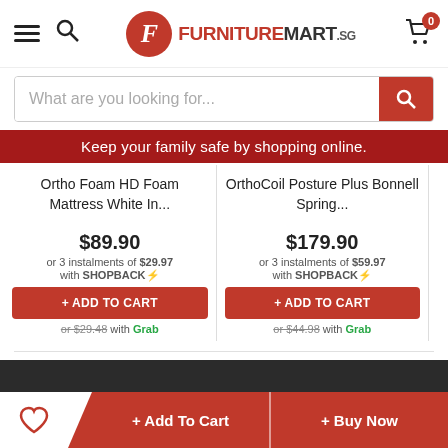[Figure (screenshot): FurnitureMart.sg website header with hamburger menu, search icon, logo, and cart icon with badge showing 0]
What are you looking for...
Keep your family safe by shopping online.
Ortho Foam HD Foam Mattress White In...
OrthoCoil Posture Plus Bonnell Spring...
$89.90
or 3 instalments of $29.97 with SHOPBACK
$179.90
or 3 instalments of $59.97 with SHOPBACK
+ ADD TO CART
or $29.48 with Grab
+ ADD TO CART
or $44.98 with Grab
+ Add To Cart
+ Buy Now